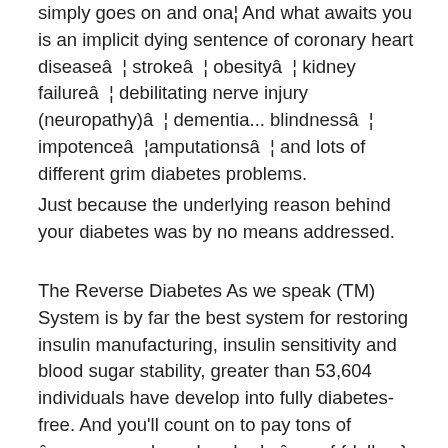simply goes on and ona¦ And what awaits you is an implicit dying sentence of coronary heart diseaseâ ¦ strokeâ ¦ obesityâ ¦ kidney failureâ ¦ debilitating nerve injury (neuropathy)â ¦ dementia... blindnessâ ¦ impotenceâ ¦amputationsâ ¦ and lots of different grim diabetes problems.
Just because the underlying reason behind your diabetes was by no means addressed.
The Reverse Diabetes As we speak (TM) System is by far the best system for restoring insulin manufacturing, insulin sensitivity and blood sugar stability, greater than 53,604 individuals have develop into fully diabetes-free. And you'll count on to pay tons of â      even perhaps hundreds â      of {dollars} for a 100% clinically confirmed system, proper?